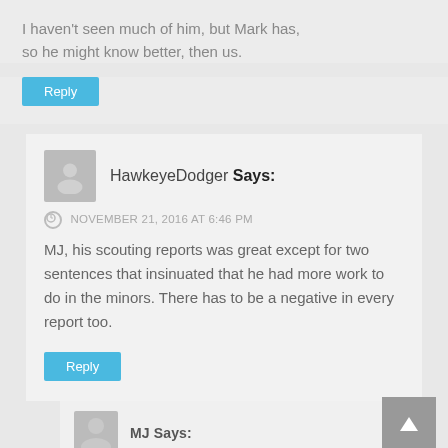I haven't seen much of him, but Mark has, so he might know better, then us.
Reply
HawkeyeDodger Says:
NOVEMBER 21, 2016 AT 6:46 PM
MJ, his scouting reports was great except for two sentences that insinuated that he had more work to do in the minors. There has to be a negative in every report too.
Reply